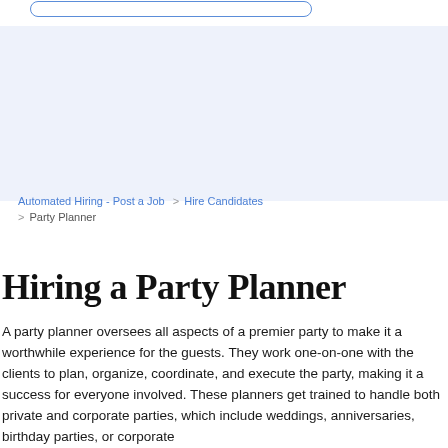Automated Hiring - Post a Job  >  Hire Candidates  >  Party Planner
Hiring a Party Planner
A party planner oversees all aspects of a premier party to make it a worthwhile experience for the guests. They work one-on-one with the clients to plan, organize, coordinate, and execute the party, making it a success for everyone involved. These planners get trained to handle both private and corporate parties, which include weddings, anniversaries, birthday parties, or corporate